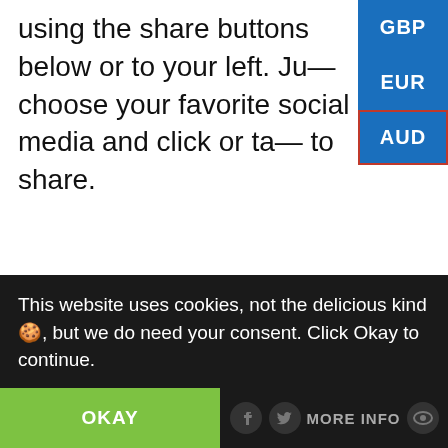using the share buttons below or to your left. Just choose your favorite social media and click or tap to share.
[Figure (screenshot): Currency selector sidebar with three buttons: GBP, EUR, AUD (AUD highlighted with red border)]
This website uses cookies, not the delicious kind🍪, but we do need your consent. Click Okay to continue.
OKAY
MORE INFO